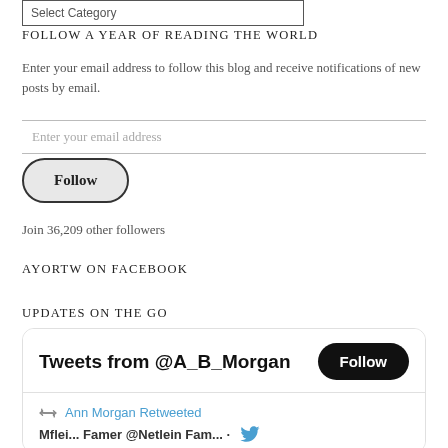Select Category
FOLLOW A YEAR OF READING THE WORLD
Enter your email address to follow this blog and receive notifications of new posts by email.
Enter your email address
Follow
Join 36,209 other followers
AYORTW ON FACEBOOK
UPDATES ON THE GO
[Figure (screenshot): Twitter widget showing 'Tweets from @A_B_Morgan' with a Follow button, and below it 'Ann Morgan Retweeted' with a retweet icon in blue, followed by a partial tweet user row.]